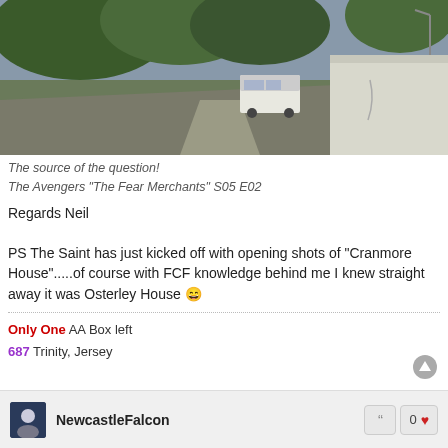[Figure (photo): Dashboard camera or windscreen view of a road with trees and a white wall on the right; a white van visible ahead on the road, overcast sky.]
The source of the question!
The Avengers "The Fear Merchants" S05 E02
Regards Neil

PS The Saint has just kicked off with opening shots of "Cranmore House".....of course with FCF knowledge behind me I knew straight away it was Osterley House 😄
Only One AA Box left
687 Trinity, Jersey
NewcastleFalcon